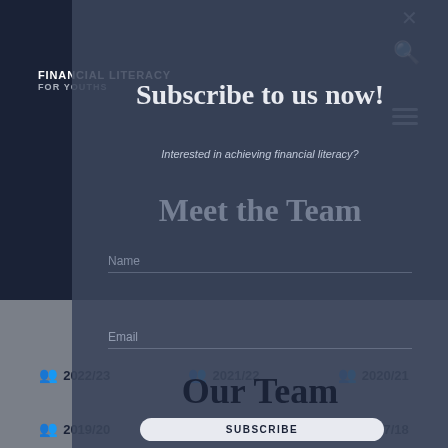FINANCIAL LITERACY FOR YOUTHS
Subscribe to us now!
Interested in achieving financial literacy?
Meet the Team
Name
Email
Our Team
SUBSCRIBE
2022/23
2021/22
2020/21
2019/20
2018/19
2017/18